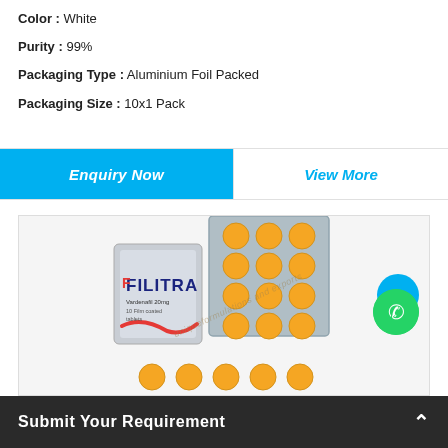Color : White
Purity : 99%
Packaging Type : Aluminium Foil Packed
Packaging Size : 10x1 Pack
Enquiry Now
View More
[Figure (photo): Filitra tablet blister pack product photo showing a silver foil packaging labeled FILITRA alongside a blister strip with yellow/orange round pills, and several loose pills below]
Submit Your Requirement